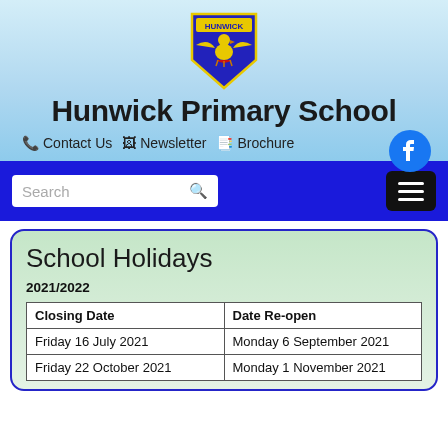[Figure (logo): Hunwick Primary School shield logo with a golden eagle on blue/purple background with 'HUNWICK' text]
Hunwick Primary School
Contact Us  Newsletter  Brochure
[Figure (logo): Facebook circular icon in blue]
Search
School Holidays
2021/2022
| Closing Date | Date Re-open |
| --- | --- |
| Friday 16 July 2021 | Monday 6 September 2021 |
| Friday 22 October 2021 | Monday 1 November 2021 |